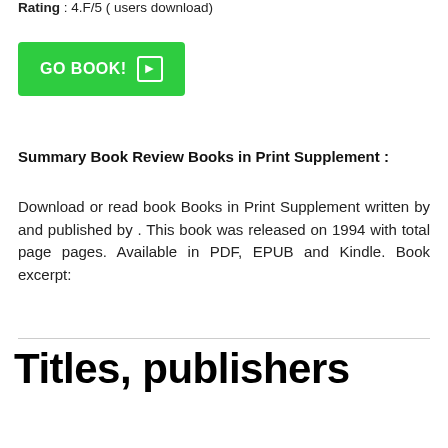Rating : 4.F/5 ( users download)
[Figure (other): Green GO BOOK! button with arrow icon]
Summary Book Review Books in Print Supplement :
Download or read book Books in Print Supplement written by and published by . This book was released on 1994 with total page pages. Available in PDF, EPUB and Kindle. Book excerpt:
Titles, publishers